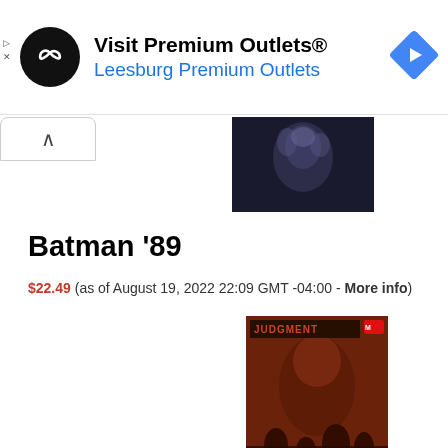[Figure (other): Advertisement banner for Premium Outlets with circular black logo, navigation arrow icon, title 'Visit Premium Outlets®' and subtitle 'Leesburg Premium Outlets']
[Figure (photo): Batman themed dark image showing a ghostly smoke figure against a dark background]
Batman '89
$22.49 (as of August 19, 2022 22:09 GMT -04:00 - More info)
[Figure (photo): Comic book cover image with red and dark tones showing armored figure, titled 'JUDGMENT' with Marvel logo]